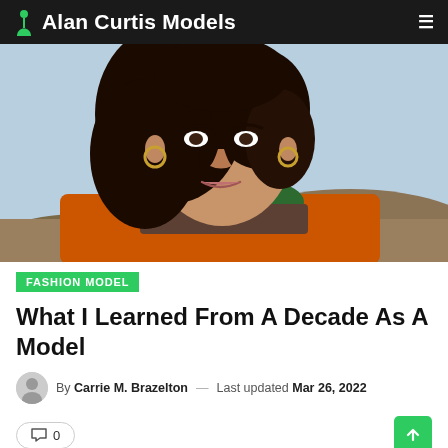Alan Curtis Models
[Figure (photo): Portrait photo of a young woman with curly dark hair and gold hoop earrings, wearing an orange jacket and green scarf, outdoors with hills in background.]
FASHION MODEL
What I Learned From A Decade As A Model
By Carrie M. Brazelton — Last updated Mar 26, 2022
0